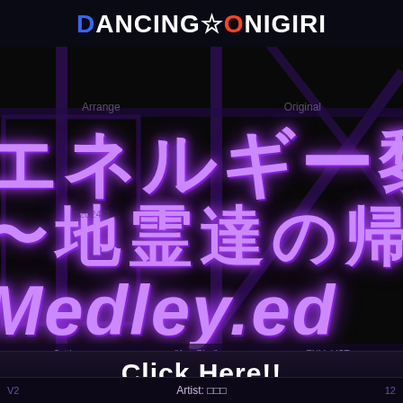Dancing☆Onigiri
Arrange   Original
エネルギー黎明 〜地霊達の帰 Medley.ed
Click Here!!
V2   Artist: □□□